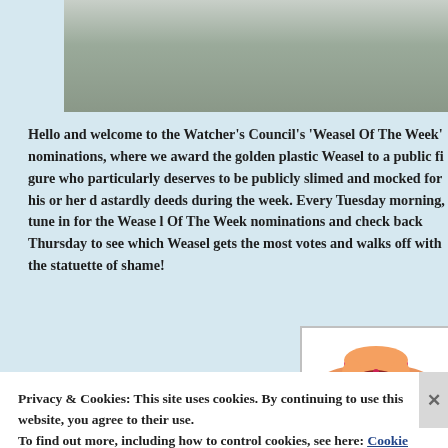[Figure (photo): Cropped photo of an animal (likely a weasel or similar), gray/brown tones, top of page]
Hello and welcome to the Watcher's Council's 'Weasel Of The Week' nominations, where we award the golden plastic Weasel to a public figure who particularly deserves to be publicly slimed and mocked for his or her dastardly deeds during the week. Every Tuesday morning, tune in for the Weasel Of The Week nominations and check back Thursday to see which Weasel gets the most votes and walks off with the statuette of shame!
[Figure (illustration): Cartoon illustration of a weasel character wearing a pink wide-brim hat, reddish-brown body]
Privacy & Cookies: This site uses cookies. By continuing to use this website, you agree to their use.
To find out more, including how to control cookies, see here: Cookie Policy
Close and accept